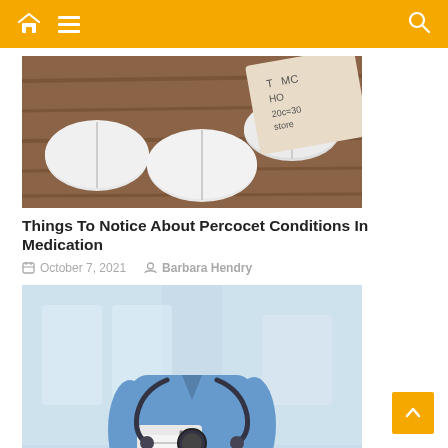Navigation bar with home, menu, and search icons
[Figure (photo): Close-up photo of white round pills/tablets on a wooden surface with a medicine bottle label visible in the background]
Things To Notice About Percocet Conditions In Medication
October 7, 2021   Barbara Hendry
[Figure (photo): Photo of a female nurse/doctor in blue scrubs with a stethoscope around her neck, writing on a clipboard]
Are You Looking For A Bad Breath Cure?